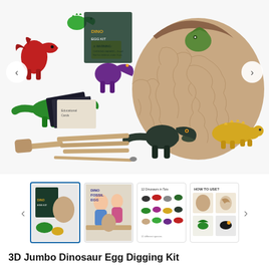[Figure (photo): Product photo of 3D Jumbo Dinosaur Egg Digging Kit showing a large cracked dinosaur egg, multiple colorful dinosaur figurines (red, green, purple, dark, yellow), wooden hammer and chisel tools, paintbrush, and educational cards spread out on white background]
[Figure (photo): Thumbnail 1: Product box and dinosaur egg kit packaging with small dinosaur figurines]
[Figure (photo): Thumbnail 2: Two children playing with the dinosaur egg digging kit on a table]
[Figure (photo): Thumbnail 3: Chart showing 12 dinosaur figurines included in the kit with text '12 Dinosaurs in Total']
[Figure (photo): Thumbnail 4: How to use instructions showing 4 small step images of the egg being broken open]
3D Jumbo Dinosaur Egg Digging Kit